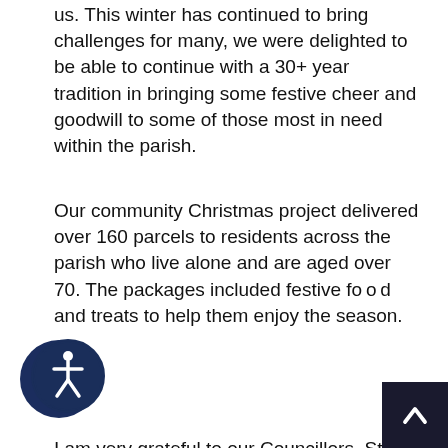us. This winter has continued to bring challenges for many, we were delighted to be able to continue with a 30+ year tradition in bringing some festive cheer and goodwill to some of those most in need within the parish.
Our community Christmas project delivered over 160 parcels to residents across the parish who live alone and are aged over 70. The packages included festive food and treats to help them enjoy the season.
[Figure (illustration): Accessibility icon — circular badge with person/wheelchair symbol in white on dark navy blue background]
I am very grateful to our Councillors, Staff and volunteers who banded together to pack the bags and deliver them out to our residents, along with all those who donated items.
This annual project is more than just delivering a Christmas parcel, It is another way for us to check in on some of our most vulnerable, have a chat, address any concerns, and most of all ensure they know there
[Figure (illustration): Scroll-to-top button: dark navy square with white upward chevron arrow, positioned bottom-right corner]